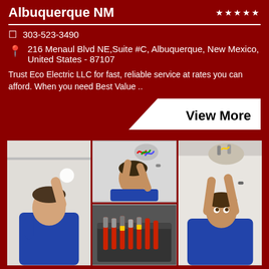Albuquerque NM
303-523-3490
216 Menaul Blvd NE,Suite #C, Albuquerque, New Mexico, United States - 87107
Trust Eco Electric LLC for fast, reliable service at rates you can afford. When you need Best Value ..
View More
[Figure (photo): Three-panel photo collage of electricians in blue shirts working on electrical fixtures and wiring. Left: electrician screwing in a light bulb on ceiling. Top center: electrician working on wiring with colorful wires. Bottom center: toolbox with screwdrivers. Right: electrician installing ceiling electrical fixture.]